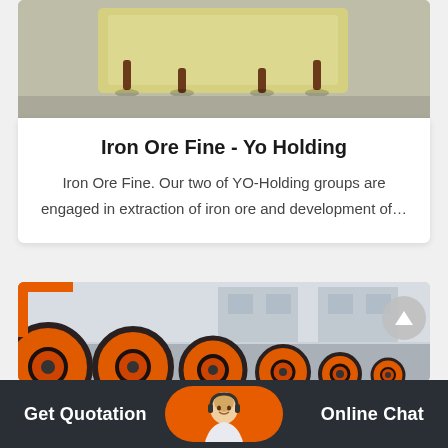[Figure (photo): Yellow industrial crusher machine on brown legs, placed on concrete floor inside a warehouse]
Iron Ore Fine - Yo Holding
Iron Ore Fine. Our two of YO-Holding groups are engaged in extraction of iron ore and development of...
[Figure (photo): Large orange industrial reels/drums in a row outside a white industrial building]
Get Quotation
Online Chat